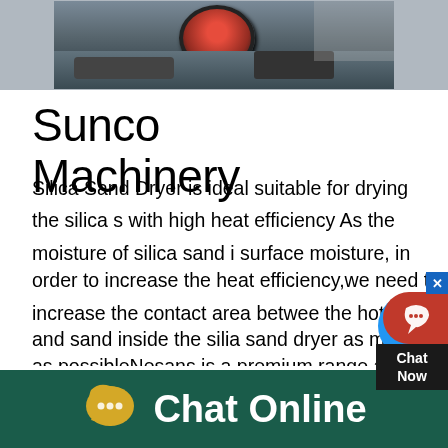[Figure (photo): Photograph of industrial machinery, appears to be a crusher or industrial equipment with a red circular component visible against a building wall background]
Sunco Machinery
Silica Sand Dryer is ideal suitable for drying the silica sand with high heat efficiency As the moisture of silica sand is surface moisture, in order to increase the heat efficiency,we need to increase the contact area between the hot air and sand inside the silia sand dryer as much as possibleNesans is a premium range and one of the best Crusher Machine Manufacturers in India, Catering the needs of the Aggregate and Mineral Processing Industry Skip to content Nesans Mining and Automation Private Limited Crushing, Screening, Washing and Conveying Solutions Manufactured sand produced through proper
Chat Online